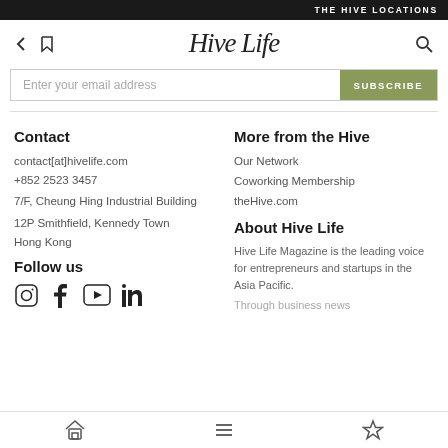THE HIVE LOCATIONS
[Figure (logo): Hive Life script logo with back arrow, bookmark, and search icons in navigation bar]
Enter your email address  SUBSCRIBE
Contact
contact[at]hivelife.com
+852 2523 3457
7/F, Cheung Hing Industrial Building
12P Smithfield, Kennedy Town
Hong Kong
Follow us
[Figure (illustration): Social media icons: Instagram, Facebook, YouTube, LinkedIn]
More from the Hive
Our Network
Coworking Membership
theHive.com
About Hive Life
Hive Life Magazine is the leading voice for entrepreneurs and startups in the Asia Pacific.
Through business news
Home  Menu  Bookmark navigation icons